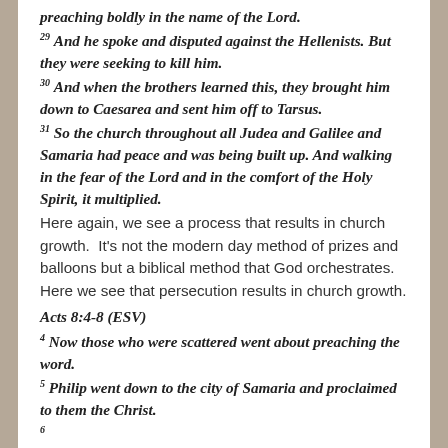preaching boldly in the name of the Lord.
29 And he spoke and disputed against the Hellenists. But they were seeking to kill him.
30 And when the brothers learned this, they brought him down to Caesarea and sent him off to Tarsus.
31 So the church throughout all Judea and Galilee and Samaria had peace and was being built up. And walking in the fear of the Lord and in the comfort of the Holy Spirit, it multiplied.
Here again, we see a process that results in church growth.  It's not the modern day method of prizes and balloons but a biblical method that God orchestrates.  Here we see that persecution results in church growth.
Acts 8:4-8 (ESV)
4 Now those who were scattered went about preaching the word.
5 Philip went down to the city of Samaria and proclaimed to them the Christ.
6